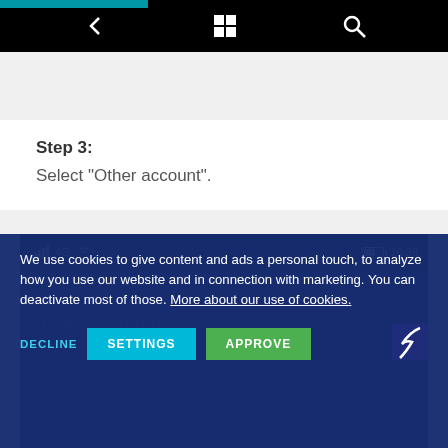[Figure (screenshot): Windows Phone top status bar with teal accent and window/search icons on black background]
Step 3:
Select "Other account".
[Figure (screenshot): Windows Phone 'Add an Account' screen showing Exchange and Outlook.com options, with a cookie consent overlay dialog containing DECLINE, SETTINGS, and APPROVE buttons]